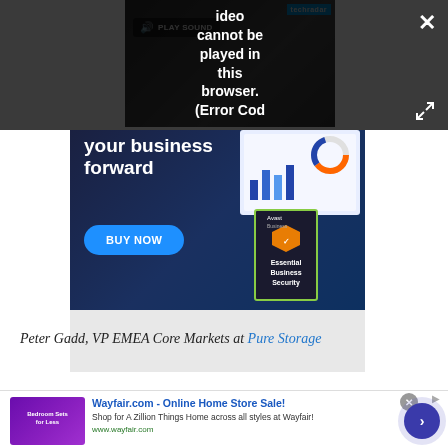[Figure (screenshot): Video player showing error message overlay: 'Video cannot be played in this browser. (Error Cod' with PLAY SOUND control and TechRadar logo. Dark gray overlay behind the player with close (X) and expand buttons.]
[Figure (screenshot): Avast Business advertisement showing 'your business forward' text, BUY NOW button, and Essential Business Security product box.]
Peter Gadd, VP EMEA Core Markets at Pure Storage
[Figure (screenshot): Wayfair.com advertisement banner: 'Wayfair.com - Online Home Store Sale! Shop for A Zillion Things Home across all styles at Wayfair! www.wayfair.com' with bedroom image thumbnail and arrow button.]